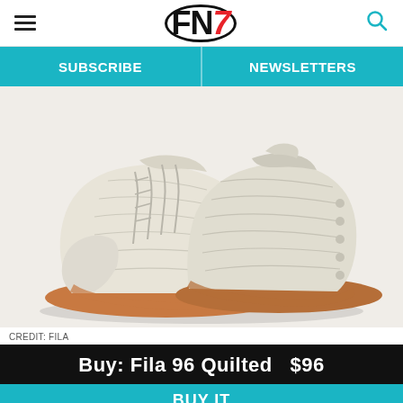FN7 — Footwear News header with hamburger menu and search icon
SUBSCRIBE | NEWSLETTERS
[Figure (photo): Two cream/off-white Fila 96 Quilted sneakers with gum sole, displayed on white background. The shoes feature quilted upper detailing and brown/tan gum rubber outsole.]
CREDIT: FILA
Buy: Fila 96 Quilted  $96
BUY IT